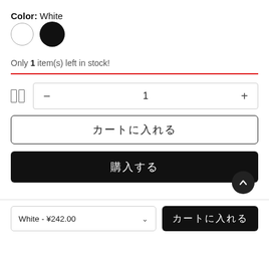Color: White
[Figure (illustration): Two color swatches: white circle with gray outline, black filled circle]
Only 1 item(s) left in stock!
[Figure (other): Red horizontal divider line]
[Figure (other): Quantity selector UI: icon, minus button, value 1, plus button]
[Figure (other): Outline button with CJK text (add to cart)]
[Figure (other): Black filled button with CJK text (buy now) and scroll-to-top circle button]
[Figure (other): Bottom bar: White - ¥242.00 dropdown selector and black CJK button]